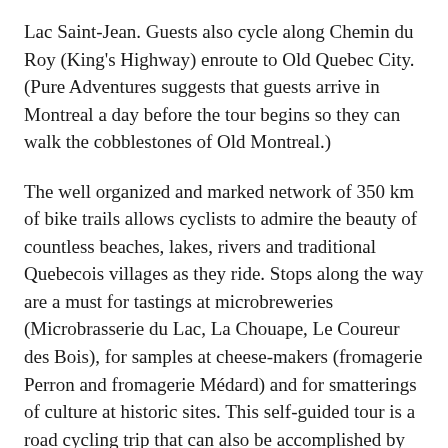Lac Saint-Jean. Guests also cycle along Chemin du Roy (King's Highway) enroute to Old Quebec City. (Pure Adventures suggests that guests arrive in Montreal a day before the tour begins so they can walk the cobblestones of Old Montreal.)
The well organized and marked network of 350 km of bike trails allows cyclists to admire the beauty of countless beaches, lakes, rivers and traditional Quebecois villages as they ride. Stops along the way are a must for tastings at microbreweries (Microbrasserie du Lac, La Chouape, Le Coureur des Bois), for samples at cheese-makers (fromagerie Perron and fromagerie Médard) and for smatterings of culture at historic sites. This self-guided tour is a road cycling trip that can also be accomplished by hybrid bike; the entire ride is on paved roads.
Guests enjoy a variety of accommodations ranging from white-washed cottages reminiscent of Brittany or Normandy to dwellings that might once have housed aristocrats.